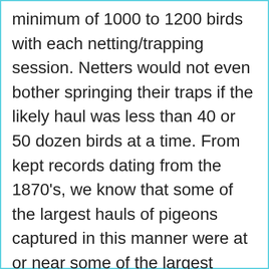minimum of 1000 to 1200 birds with each netting/trapping session. Netters would not even bother springing their traps if the likely haul was less than 40 or 50 dozen birds at a time. From kept records dating from the 1870's, we know that some of the largest hauls of pigeons captured in this manner were at or near some of the largest rookeries in Wisconsin and Michigan: 40 bushels of corn bait yielded more than 3500 birds; 300 dozen at another trapping bed;132 dozen at another trapping location (not counting the birds that escaped). Over 50,000 pigeons wound up in the nets of one three-man